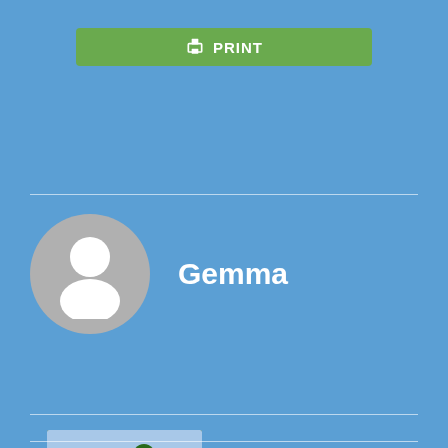[Figure (other): Green PRINT button with printer icon at top center]
[Figure (other): User profile section with grey avatar circle placeholder and name Gemma]
Gemma
[Figure (photo): Photo of a child walking on stepping stones in a green field with trees, at Bolton Abbey]
Welly Walk at Bolton Abbey